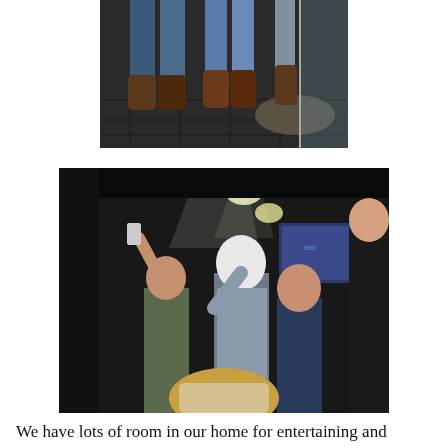[Figure (photo): Close-up photo of people's legs and boots standing on a dark tiled floor, shot from a low angle.]
[Figure (photo): Indoor photo of a group of people gathered in what appears to be an auditorium or theatre with stage lighting overhead. A man with white hair gestures while talking to others. A projection screen is visible in the background.]
We have lots of room in our home for entertaining and